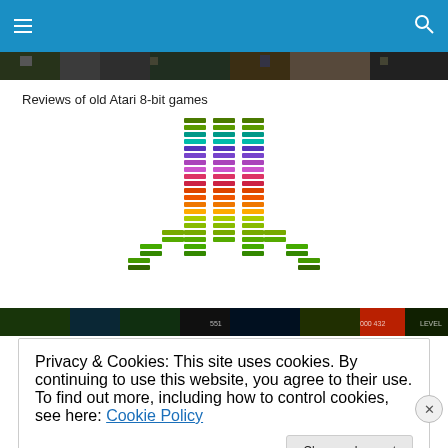Navigation bar with hamburger menu and search icon
[Figure (screenshot): Top image strip showing game screenshots]
Reviews of old Atari 8-bit games
[Figure (logo): Rainbow-colored Atari logo made of horizontal bars]
[Figure (screenshot): Bottom game screenshot strip]
Privacy & Cookies: This site uses cookies. By continuing to use this website, you agree to their use.
To find out more, including how to control cookies, see here: Cookie Policy
Close and accept